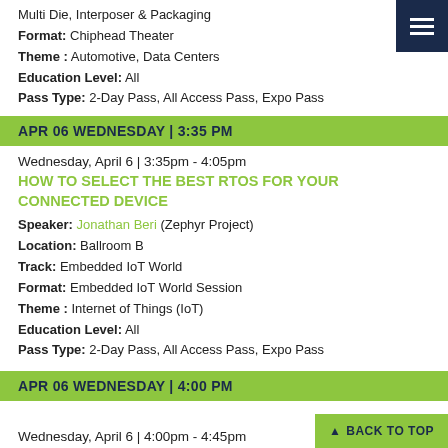Multi Die, Interposer & Packaging
Format: Chiphead Theater
Theme : Automotive, Data Centers
Education Level: All
Pass Type: 2-Day Pass, All Access Pass, Expo Pass
APR 06 WEDNESDAY | 3:35 PM
Wednesday, April 6 | 3:35pm - 4:05pm
HOW TO SELECT THE BEST RTOS FOR YOUR CONNECTED DEVICE
Speaker: Jonathan Beri (Zephyr Project)
Location: Ballroom B
Track: Embedded IoT World
Format: Embedded IoT World Session
Theme : Internet of Things (IoT)
Education Level: All
Pass Type: 2-Day Pass, All Access Pass, Expo Pass
APR 06 WEDNESDAY | 4:00 PM
Wednesday, April 6 | 4:00pm - 4:45pm